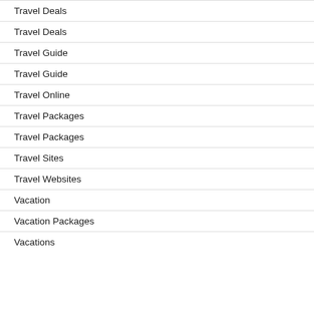Travel Deals
Travel Deals
Travel Guide
Travel Guide
Travel Online
Travel Packages
Travel Packages
Travel Sites
Travel Websites
Vacation
Vacation Packages
Vacations